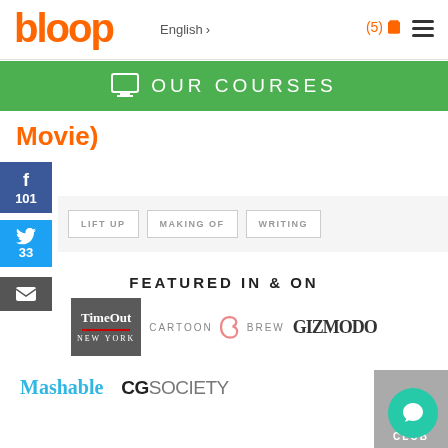bloop | English > | (5) cart | menu
OUR COURSES
Movie)
f 101
33
LIFT UP
MAKING OF
WRITING
FEATURED IN & ON
[Figure (logo): Time Out New York logo - grey square with serif text]
[Figure (logo): Cartoon Brew logo with stylized b icon]
[Figure (logo): Gizmodo logo in dark serif font]
[Figure (logo): Mashable logo in cyan]
[Figure (logo): CGSociety logo]
[Figure (logo): A Club partial logo]